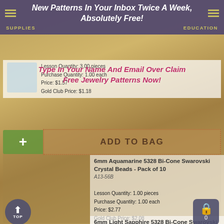New Patterns In Your Inbox Twice A Week, Absolutely Free! | SUPPLIES | EDUCATION
Type In Your Name And Email Over Claim Free Jewelry Patterns Now!
Lesson Quantity: 3.00 pieces
Purchase Quantity: 1.00 each
Price: $1.57
Gold Club Price: $1.18
[Figure (screenshot): Add to Bag button with green plus icon and dotted border label]
6mm Aquamarine 5328 Bi-Cone Swarovski Crystal Beads - Pack of 10
A13-56B

Lesson Quantity: 1.00 pieces
Purchase Quantity: 1.00 each
Price: $2.77
Gold Club Price: $2.08
Out of Stock
6mm Light Sapphire 5328 Bi-Cone Swarovski Crystal Beads - Pack of 10
A13-129B

Lesson Quantity: 1.00 pieces
TOP | 0